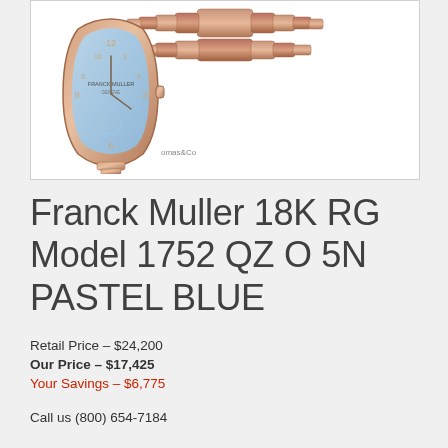[Figure (photo): Product photo of a Franck Muller 18K rose gold watch (Model 1752 QZ O 5N Pastel Blue) showing the rose gold bracelet at top and the watch face with pastel blue dial at bottom left of the image box.]
Franck Muller 18K RG Model 1752 QZ O 5N PASTEL BLUE
Retail Price – $24,200
Our Price – $17,425
Your Savings – $6,775
Call us (800) 654-7184